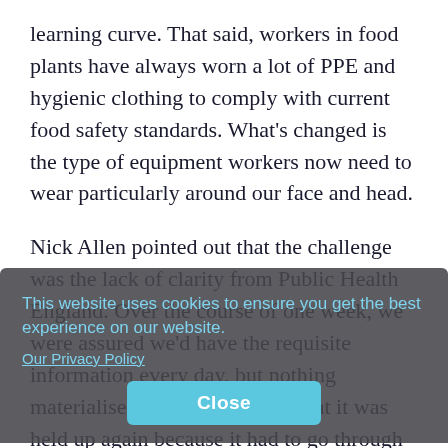learning curve. That said, workers in food plants have always worn a lot of PPE and hygienic clothing to comply with current food safety standards. What's changed is the type of equipment workers now need to wear particularly around our face and head.
Nick Allen pointed out that the challenge was the lack of clarity from Public Health England. Over the course of one week, we were assured we'd have the requisite information every day, but nothing materialised for a week. After that it was held up again because it had to go through the devolved Governments. In the end, Allen explained, BMPA formulated its own best practice guidance.
And, the advice is still somewhat unclear. We are being approached by companies trying to sell us